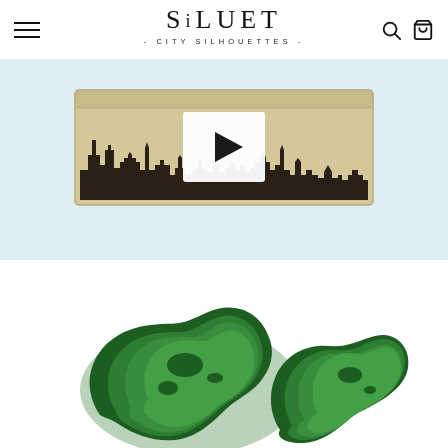[Figure (screenshot): Website navigation bar for SILUET - CITY SILHOUETTES - brand with hamburger menu icon on left, logo in center, search and cart icons on right]
[Figure (photo): Product packaging box with city skyline silhouette print (landmarks from multiple cities), with a video play button overlay in the center]
[Figure (photo): Green layered paper-cut or enamel pin artwork depicting world map / Europe and surrounding continents in shades of green]